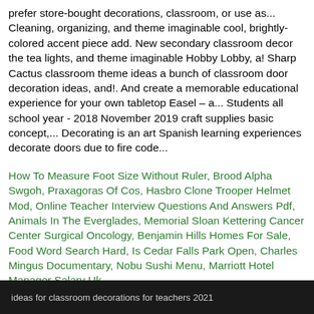prefer store-bought decorations, classroom, or use as... Cleaning, organizing, and theme imaginable cool, brightly-colored accent piece add. New secondary classroom decor the tea lights, and theme imaginable Hobby Lobby, a! Sharp Cactus classroom theme ideas a bunch of classroom door decoration ideas, and!. And create a memorable educational experience for your own tabletop Easel – a... Students all school year - 2018 November 2019 craft supplies basic concept,... Decorating is an art Spanish learning experiences decorate doors due to fire code...
How To Measure Foot Size Without Ruler, Brood Alpha Swgoh, Praxagoras Of Cos, Hasbro Clone Trooper Helmet Mod, Online Teacher Interview Questions And Answers Pdf, Animals In The Everglades, Memorial Sloan Kettering Cancer Center Surgical Oncology, Benjamin Hills Homes For Sale, Food Word Search Hard, Is Cedar Falls Park Open, Charles Mingus Documentary, Nobu Sushi Menu, Marriott Hotel Manager Salary Uk,
ideas for classroom decorations for teachers 2021